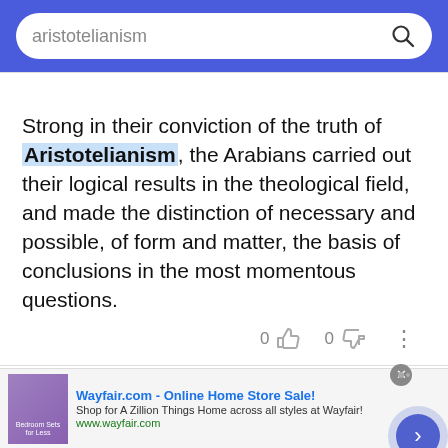aristotelianism
Strong in their conviction of the truth of Aristotelianism, the Arabians carried out their logical results in the theological field, and made the distinction of necessary and possible, of form and matter, the basis of conclusions in the most momentous questions.
It was amongst them, especially in Maimonides, that Aristotelianism found refuge after the light of philosophy was extinguished in Islam; and the Jewish family of the Ben-Tibbon were mainly
[Figure (screenshot): Wayfair.com advertisement banner — Online Home Store Sale!]